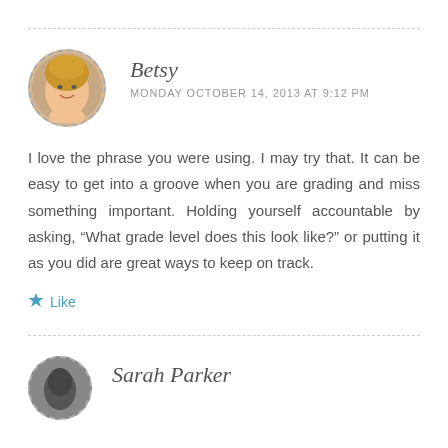[Figure (photo): Circular avatar photo of Betsy, a woman with blonde hair, smiling, with a dashed circular border]
Betsy
MONDAY OCTOBER 14, 2013 AT 9:12 PM
I love the phrase you were using. I may try that. It can be easy to get into a groove when you are grading and miss something important. Holding yourself accountable by asking, “What grade level does this look like?” or putting it as you did are great ways to keep on track.
Like
[Figure (photo): Circular avatar photo of Sarah Parker, partially visible at the bottom of the page]
Sarah Parker